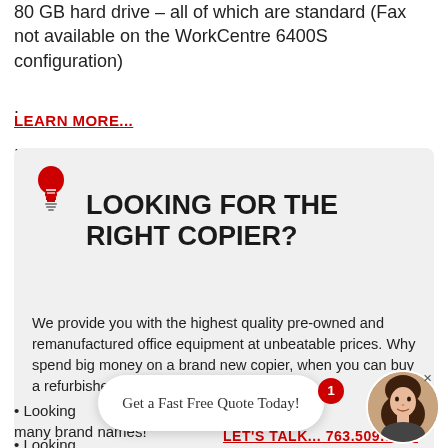80 GB hard drive – all of which are standard (Fax not available on the WorkCentre 6400S configuration)
.
LEARN MORE...
.
[Figure (infographic): Gray rounded card with red lightbulb icon, heading 'LOOKING FOR THE RIGHT COPIER?', body text about pre-owned office equipment, and a red underlined link 'LET'S TALK... 763.509.0054']
[Figure (infographic): Chat popup widget with red notification badge showing '1', woman avatar, and text 'Get a Fast Free Quote Today!']
• Looking ... we many brand names!
...